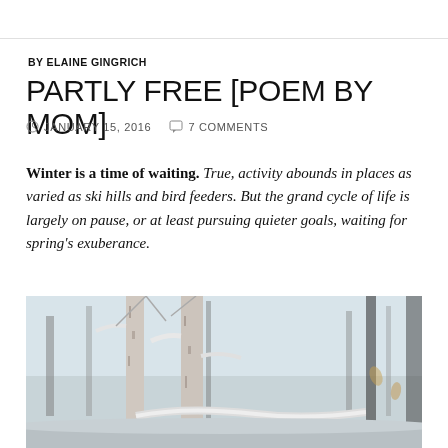BY ELAINE GINGRICH
PARTLY FREE [POEM BY MOM]
JANUARY 15, 2016   7 COMMENTS
Winter is a time of waiting. True, activity abounds in places as varied as ski hills and bird feeders. But the grand cycle of life is largely on pause, or at least pursuing quieter goals, waiting for spring's exuberance.
[Figure (photo): Winter nature photo showing snow-covered birch trees and branches with a pale sky background]